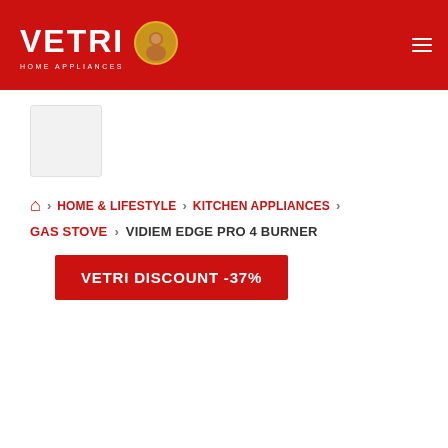VETRI HOME APPLIANCES
HOME & LIFESTYLE > KITCHEN APPLIANCES > GAS STOVE > VIDIEM EDGE PRO 4 BURNER
VETRI DISCOUNT -37%